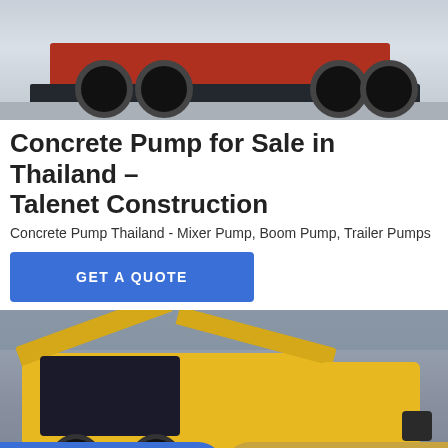[Figure (photo): Underside/rear view of a red truck on a concrete surface, showing wheels and undercarriage]
Concrete Pump for Sale in Thailand – Talenet Construction
Concrete Pump Thailand - Mixer Pump, Boom Pump, Trailer Pumps
GET A QUOTE
[Figure (photo): Yellow concrete trailer pump machine with open hood showing engine, displayed in an industrial warehouse setting]
Send Message
Inquiry Online